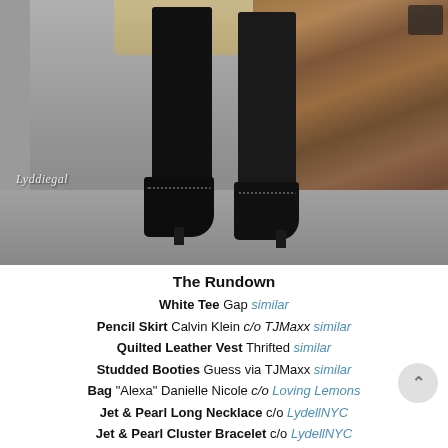[Figure (photo): Fashion blog photo showing legs and feet of a person wearing black tights, a beige/camel pencil skirt, and black studded ankle booties, standing on a sidewalk with fallen autumn leaves in the background. A watermark reading 'Lyddiegal' appears in the lower left corner.]
The Rundown
White Tee Gap similar
Pencil Skirt Calvin Klein c/o TJMaxx similar
Quilted Leather Vest Thrifted similar
Studded Booties Guess via TJMaxx similar
Bag "Alexa" Danielle Nicole c/o Loving Lemons
Jet & Pearl Long Necklace c/o LydellNYC
Jet & Pearl Cluster Bracelet c/o LydellNYC